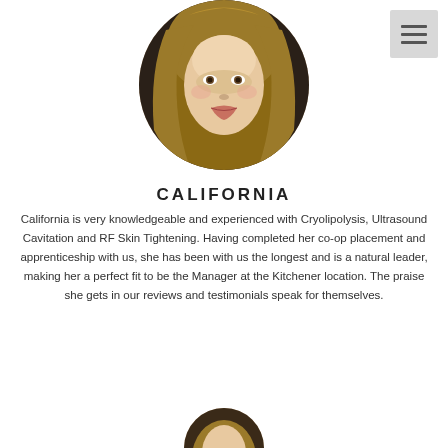[Figure (photo): Circular portrait photo of a young woman with long blonde hair against a dark background]
CALIFORNIA
California is very knowledgeable and experienced with Cryolipolysis, Ultrasound Cavitation and RF Skin Tightening. Having completed her co-op placement and apprenticeship with us, she has been with us the longest and is a natural leader, making her a perfect fit to be the Manager at the Kitchener location. The praise she gets in our reviews and testimonials speak for themselves.
[Figure (photo): Partial circular portrait photo at bottom of page, cropped]